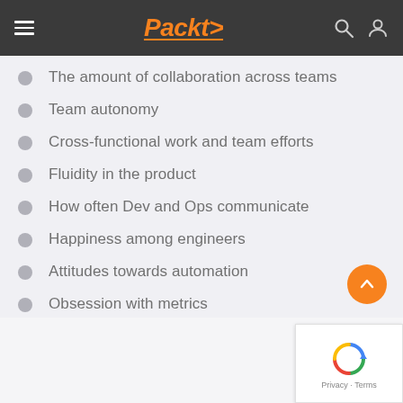Packt>
The amount of collaboration across teams
Team autonomy
Cross-functional work and team efforts
Fluidity in the product
How often Dev and Ops communicate
Happiness among engineers
Attitudes towards automation
Obsession with metrics